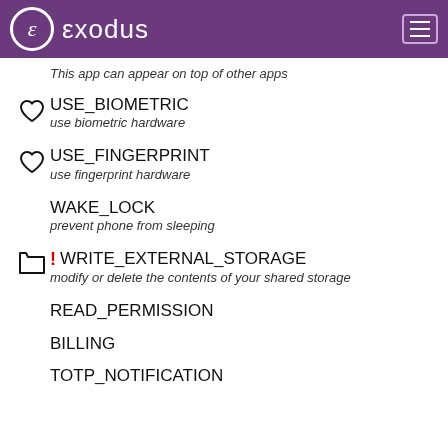exodus
This app can appear on top of other apps
USE_BIOMETRIC
use biometric hardware
USE_FINGERPRINT
use fingerprint hardware
WAKE_LOCK
prevent phone from sleeping
WRITE_EXTERNAL_STORAGE
modify or delete the contents of your shared storage
READ_PERMISSION
BILLING
TOTP_NOTIFICATION